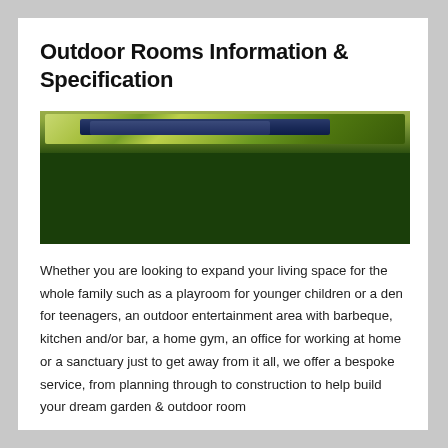Outdoor Rooms Information & Specification
[Figure (photo): Photo of outdoor room structure with dark green roof panels visible against a leafy green background, with a large dark green block below.]
Whether you are looking to expand your living space for the whole family such as a playroom for younger children or a den for teenagers, an outdoor entertainment area with barbeque, kitchen and/or bar, a home gym, an office for working at home or a sanctuary just to get away from it all, we offer a bespoke service, from planning through to construction to help build your dream garden & outdoor room